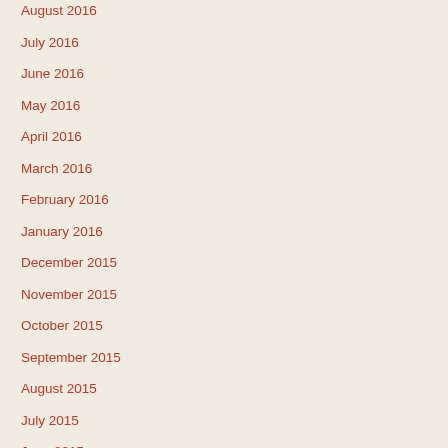August 2016
July 2016
June 2016
May 2016
April 2016
March 2016
February 2016
January 2016
December 2015
November 2015
October 2015
September 2015
August 2015
July 2015
June 2015